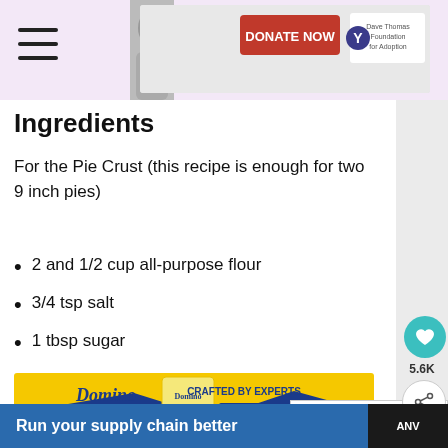[Figure (screenshot): Donate Now banner advertisement with Dave Thomas Foundation for Adoption logo]
Ingredients
For the Pie Crust (this recipe is enough for two 9 inch pies)
2 and 1/2 cup all-purpose flour
3/4 tsp salt
1 tbsp sugar
[Figure (screenshot): Domino Golden Sugar advertisement — Crafted by Experts, Buy Now on Instacart]
1 cup unsalted butter (or two sticks) cut
Run your supply chain better